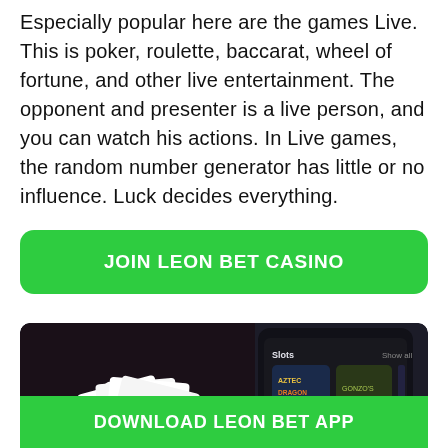Especially popular here are the games Live. This is poker, roulette, baccarat, wheel of fortune, and other live entertainment. The opponent and presenter is a live person, and you can watch his actions. In Live games, the random number generator has little or no influence. Luck decides everything.
[Figure (other): Green rounded button with white bold uppercase text: JOIN LEON BET CASINO]
[Figure (photo): Photo of playing cards and dice on a dark table surface on the left half, and a smartphone showing the Leon Bet casino app interface (Slots section with game thumbnails like Aztec, Gonzos Quest, CUB, and Jackpots section with Absolootly text) on the right half. A blue scroll-up button is overlaid on the right edge.]
[Figure (other): Green button with white bold uppercase text: DOWNLOAD LEON BET APP]